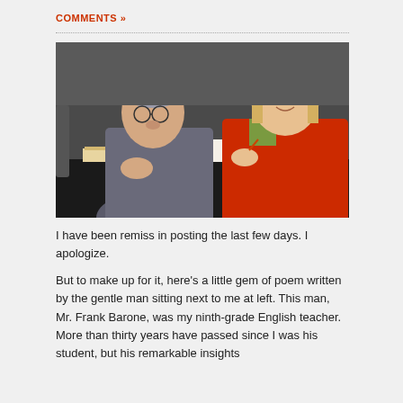COMMENTS »
[Figure (photo): Two people sitting at a table at a book signing event. An older man on the left wearing a grey sweater and glasses, and a woman on the right wearing a red jacket, smiling and signing a book.]
I have been remiss in posting the last few days. I apologize.
But to make up for it, here's a little gem of poem written by the gentle man sitting next to me at left. This man, Mr. Frank Barone, was my ninth-grade English teacher. More than thirty years have passed since I was his student, but his remarkable insights